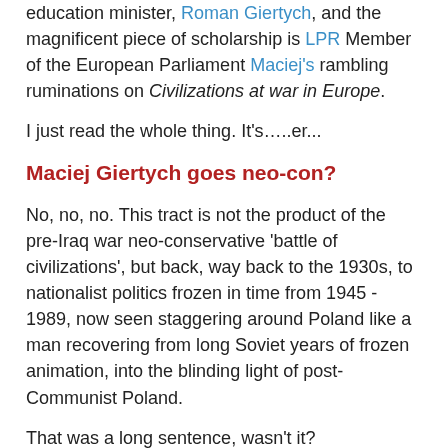education minister, Roman Giertych, and the magnificent piece of scholarship is LPR Member of the European Parliament Maciej's rambling ruminations on Civilizations at war in Europe.
I just read the whole thing. It's…..er...
Maciej Giertych goes neo-con?
No, no, no. This tract is not the product of the pre-Iraq war neo-conservative 'battle of civilizations', but back, way back to the 1930s, to nationalist politics frozen in time from 1945 - 1989, now seen staggering around Poland like a man recovering from long Soviet years of frozen animation, into the blinding light of post-Communist Poland.
That was a long sentence, wasn't it?
Civilizations at war in Europe is based on what Giertych believes was a truly marvelous writer, odd-ball Polish historian Feliks Koneczny, the founder of the so-called 'comparative science of civilizations', who died in 1949. It